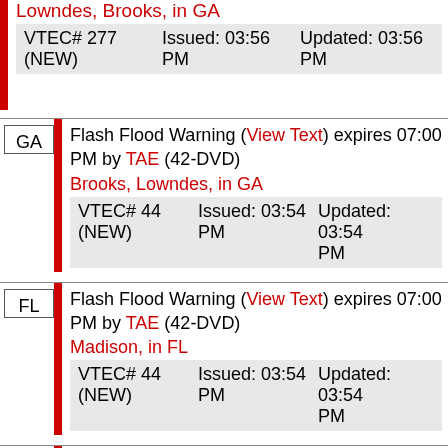Lowndes, Brooks, in GA
| VTEC# 277 (NEW) | Issued: 03:56 PM | Updated: 03:56 PM |
| --- | --- | --- |
Flash Flood Warning (View Text) expires 07:00 PM by TAE (42-DVD)
Brooks, Lowndes, in GA
| VTEC# 44 (NEW) | Issued: 03:54 PM | Updated: 03:54 PM |
| --- | --- | --- |
Flash Flood Warning (View Text) expires 07:00 PM by TAE (42-DVD)
Madison, in FL
| VTEC# 44 (NEW) | Issued: 03:54 PM | Updated: 03:54 PM |
| --- | --- | --- |
Flash Flood Warning (View Text) expires 07:00 PM by MAF (DM)